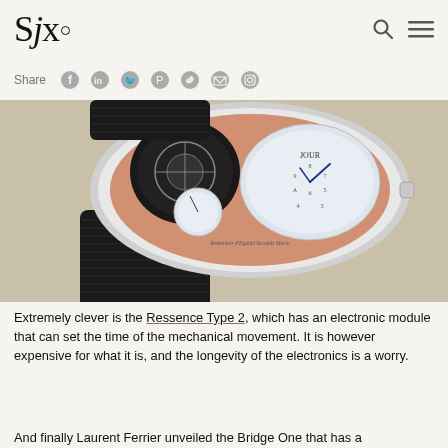SJx.
Share
[Figure (photo): Close-up photograph of a luxury tourbillon watch with a salmon/rose gold colored dial, multiple sub-dials, blue hands, and a black alligator leather strap. Text on the dial reads 'Tourbillon' and 'Remontoir d'Egalité Seconde Morte'.]
Extremely clever is the Ressence Type 2, which has an electronic module that can set the time of the mechanical movement. It is however expensive for what it is, and the longevity of the electronics is a worry.
And finally Laurent Ferrier unveiled the Bridge One that has a